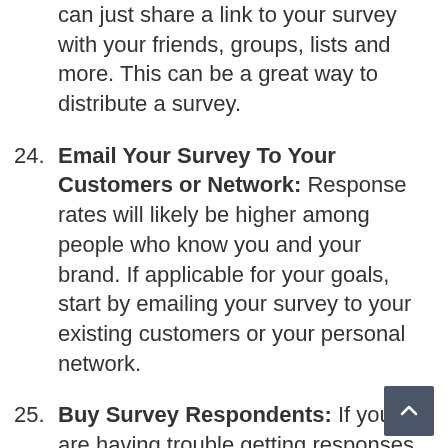can just share a link to your survey with your friends, groups, lists and more. This can be a great way to distribute a survey.
24. Email Your Survey To Your Customers or Network: Response rates will likely be higher among people who know you and your brand. If applicable for your goals, start by emailing your survey to your existing customers or your personal network.
25. Buy Survey Respondents: If you are having trouble getting responses for your survey from friends or existing customers, you can consider buying